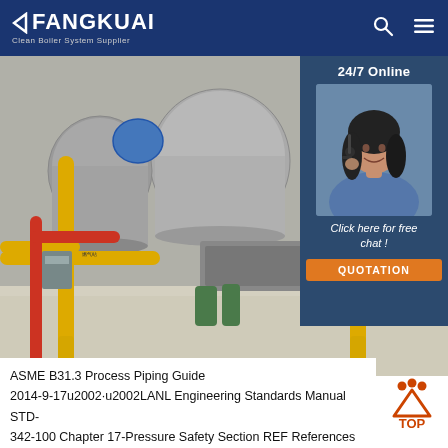FANGKUAI Clean Boiler System Supplier
[Figure (photo): Industrial boiler facility interior showing large cylindrical boiler tanks, yellow piping, red pipes, and mechanical equipment on a polished concrete floor]
[Figure (infographic): 24/7 Online chat panel with female customer service representative wearing headset, 'Click here for free chat!' text, and orange QUOTATION button]
ASME B31.3 Process Piping Guide 2014-9-17u2002·u2002LANL Engineering Standards Manual STD-342-100 Chapter 17-Pressure Safety Section REF References Rev. 0 09/17/2014 REF-2 ASME B31.3 Process Piping Guide 1 of 171